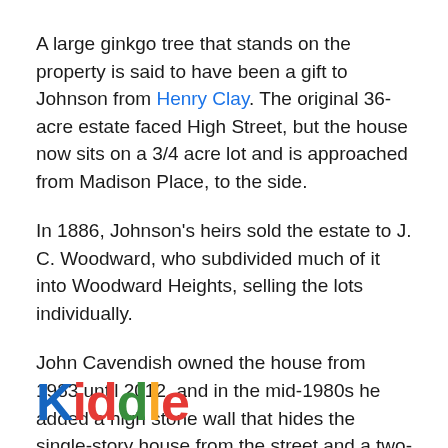A large ginkgo tree that stands on the property is said to have been a gift to Johnson from Henry Clay. The original 36-acre estate faced High Street, but the house now sits on a 3/4 acre lot and is approached from Madison Place, to the side.
In 1886, Johnson's heirs sold the estate to J. C. Woodward, who subdivided much of it into Woodward Heights, selling the lots individually.
John Cavendish owned the house from 1983 until 2012, and in the mid-1980s he added a high stone wall that hides the single-story house from the street and a two-story guest house.
[Figure (logo): Kiddle logo with colorful letters: K in blue, i in red, d in red, d in green, l in yellow, e in red]